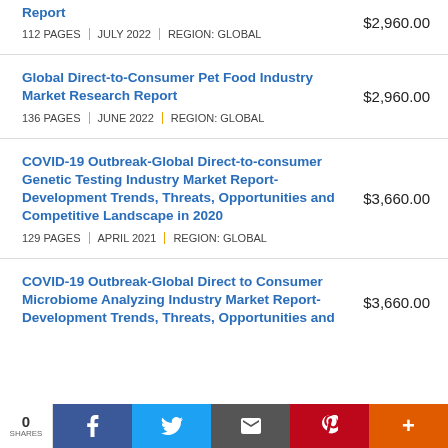Report
112 PAGES | JULY 2022 | REGION: GLOBAL
$2,960.00
Global Direct-to-Consumer Pet Food Industry Market Research Report
136 PAGES | JUNE 2022 | REGION: GLOBAL
$2,960.00
COVID-19 Outbreak-Global Direct-to-consumer Genetic Testing Industry Market Report-Development Trends, Threats, Opportunities and Competitive Landscape in 2020
129 PAGES | APRIL 2021 | REGION: GLOBAL
$3,660.00
COVID-19 Outbreak-Global Direct to Consumer Microbiome Analyzing Industry Market Report-Development Trends, Threats, Opportunities and
$3,660.00
0 SHARES